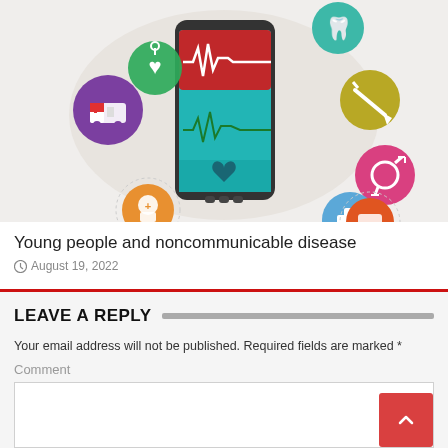[Figure (illustration): Health app illustration showing a smartphone with ECG/heartbeat display surrounded by medical icons: ambulance, stethoscope, tooth, syringe, gender symbol, cross/plus, pill bottle, and medical cross badge, all on a light beige circular background.]
Young people and noncommunicable disease
August 19, 2022
LEAVE A REPLY
Your email address will not be published. Required fields are marked *
Comment